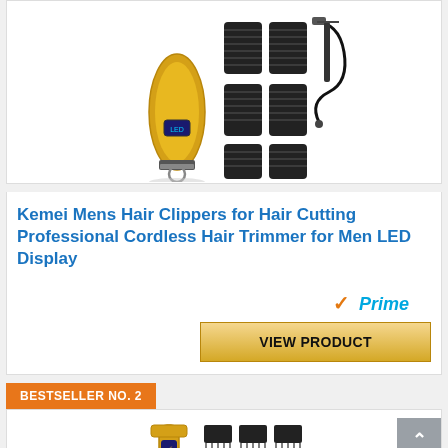[Figure (photo): Gold Kemei hair clipper with multiple comb attachments, charging cable, and comb accessories on white background]
Kemei Mens Hair Clippers for Hair Cutting Professional Cordless Hair Trimmer for Men LED Display
[Figure (logo): Amazon Prime badge with checkmark and 'Prime' text in blue]
VIEW PRODUCT
BESTSELLER NO. 2
[Figure (photo): Gold hair trimmer with multiple T-blade guide comb attachments on white background]